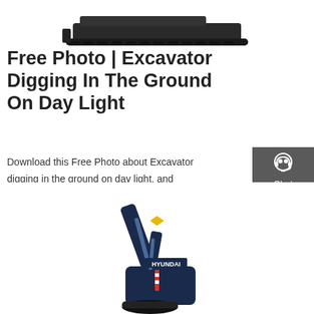[Figure (photo): Top portion of a dark tracked excavator/bulldozer machine on white background, cropped at top of page]
Free Photo | Excavator Digging In The Ground On Day Light
Download this Free Photo about Excavator digging in the ground on day light, and discover more than 13 Million Professional Stock Photos on Freepik. #freepik #Photo #Work #Machine #Sand
[Figure (infographic): Sidebar panel with dark gray background showing three contact options: Chat (headset icon), Email (envelope icon), Contact (speech bubble icon), separated by red lines]
Get a quote
[Figure (photo): Bottom portion of a dark blue Hyundai excavator with boom arm visible, on white background]